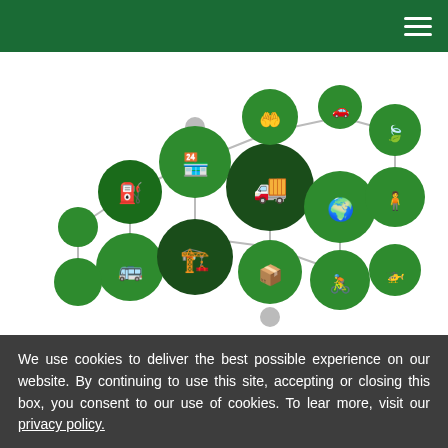[Figure (infographic): Network diagram of green supply chain icons: vehicles (car, truck, forklift, bus, bicycle, drone), warehouse, delivery box, globe, leaf, person, connected by grey lines on white background. All icons are white on dark green circles of varying sizes.]
Understanding How Supply Chains Can be Made More Eco-Friendly
Environmental Health and Safety
[Figure (photo): Aerial view of urban buildings with green rooftop gardens.]
We use cookies to deliver the best possible experience on our website. By continuing to use this site, accepting or closing this box, you consent to our use of cookies. To learn more, visit our privacy policy.